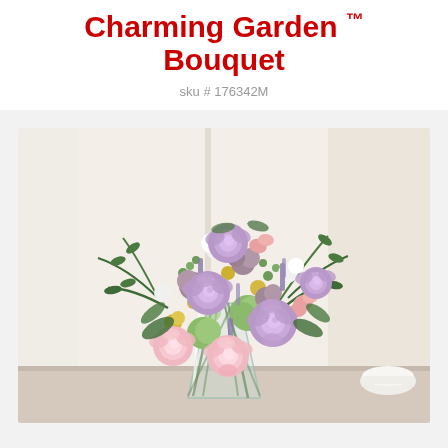Charming Garden™ Bouquet
sku # 176342M
[Figure (photo): A lush floral bouquet in a tall clear glass vase featuring lavender roses, pink roses, mauve button mums, green carnations, yellow santini, white stock flowers, pink alstroemeria, and assorted greenery including fern fronds and seeded eucalyptus, arranged against a bright window background.]